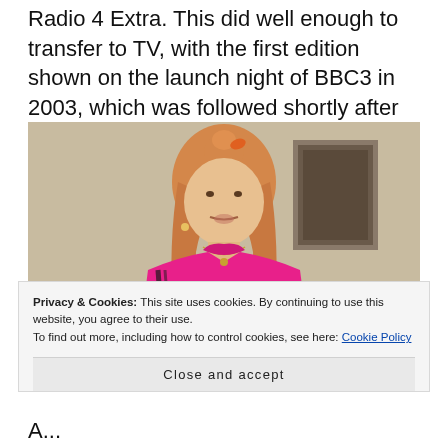Radio 4 Extra. This did well enough to transfer to TV, with the first edition shown on the launch night of BBC3 in 2003, which was followed shortly after by a full series.
[Figure (photo): A woman with long reddish-blonde hair wearing a bright pink tracksuit jacket, standing in what appears to be a pub or club interior with wood paneling and a framed picture on the wall behind her.]
Privacy & Cookies: This site uses cookies. By continuing to use this website, you agree to their use. To find out more, including how to control cookies, see here: Cookie Policy
Close and accept
A...